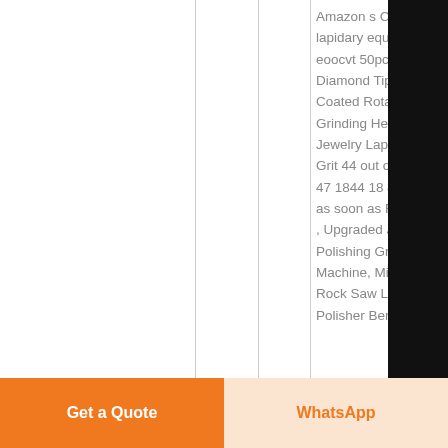Amazon s Choice lapidary equipment eoocvt 50pcs Diamond Tipped Coated Rotary Grinding Head Jewelry Lapidary Grit 44 out of 5 s 47 1844 18 44 G as soon as Fri, J , Upgraded Jewe Polishing Grindi Machine, Mini Ta Rock Saw Lapid Polisher Bench G
[Figure (screenshot): Black sidebar with Chat (headset icon), E-mail (document icon), Top (arrow up icon), and close (x) buttons]
Get a Quote
WhatsApp